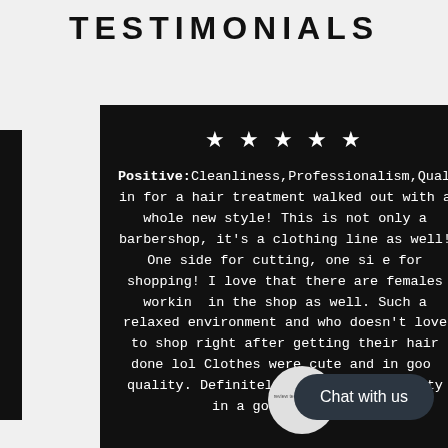TESTIMONIALS
★ ★ ★ ★ ★
Positive:Cleanliness,Professionalism,QualityWen in for a hair treatment walked out with a whole new style! This is not only a barbershop, it's a clothing line as well! One side for cutting, one side for shopping! I love that there are females working in the shop as well. Such a relaxed environment and who doesn't love to shop right after getting their hair done lol Clothes were cute and in good quality. Definitely represents the city in a good light! L
Chat with us